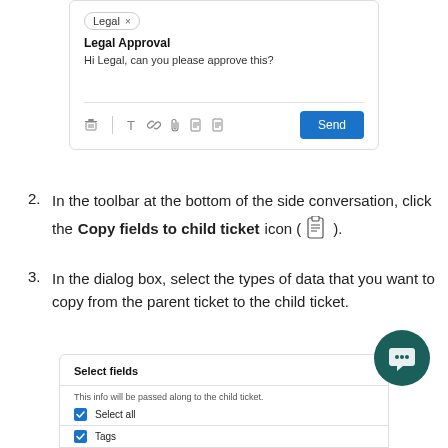[Figure (screenshot): UI screenshot showing a side conversation compose window with 'Legal' tag bubble, subject 'Legal Approval', message 'Hi Legal, can you please approve this?', and a toolbar at the bottom with icons and a blue Send button.]
2. In the toolbar at the bottom of the side conversation, click the Copy fields to child ticket icon ( [icon] ).
3. In the dialog box, select the types of data that you want to copy from the parent ticket to the child ticket.
[Figure (screenshot): UI dialog 'Select fields' with info text 'This info will be passed along to the child ticket.', a checked 'Select all' checkbox row, a divider, and a checked 'Tags' checkbox row.]